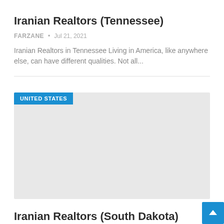Iranian Realtors (Tennessee)
FARZANE • Jul 21, 2021
Iranian Realtors in Tennessee Living in America, like anywhere else, can have different qualities. Not all...
[Figure (other): Gray placeholder card image with blue 'UNITED STATES' tag label in the top-left corner]
Iranian Realtors (South Dakota)